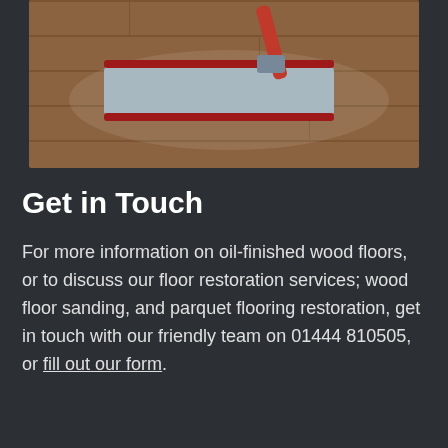[Figure (photo): A flat mop with red fringe and gray pad lying on a wet wooden floor, being used for cleaning.]
Get in Touch
For more information on oil-finished wood floors, or to discuss our floor restoration services; wood floor sanding, and parquet flooring restoration, get in touch with our friendly team on 01444 810505, or fill out our form.